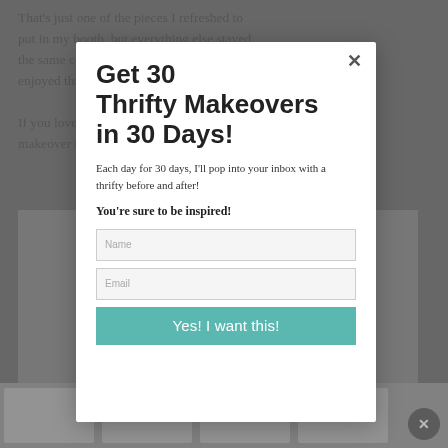That's just one of the pieces I refreshed to put in my booth, but everything else stayed the same color they were before. I hope you enjoyed this read of a redo!
If you loved this, you'll love this makeover too.
[Figure (photo): Background photo of a room interior, partially obscured by modal overlay]
Get 30 Thrifty Makeovers in 30 Days!
Each day for 30 days, I'll pop into your inbox with a thrifty before and after!
You're sure to be inspired!
Name
Email
Yes! I want this!